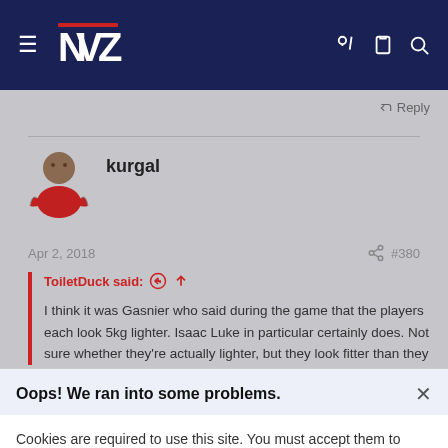[Figure (logo): MV Warriors NRL team logo - stylized NVZ letters in white on dark navy navigation bar]
Navigation bar with hamburger menu, Warriors logo, key icon, clipboard icon, search icon
Reply
kurgal
Apr 2, 2018
#380
ToiletDuck said: ↑
I think it was Gasnier who said during the game that the players each look 5kg lighter. Isaac Luke in particular certainly does. Not sure whether they're actually lighter, but they look fitter than they
Oops! We ran into some problems.
Cookies are required to use this site. You must accept them to continue using the site.